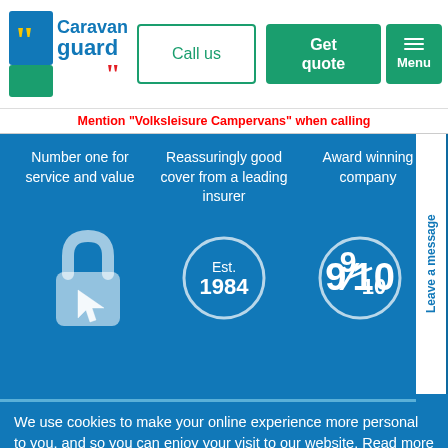[Figure (logo): Caravan Guard logo with quotation mark icon and red comma accent]
Call us
Get quote
Menu
Mention "Volksleisure Campervans" when calling
Number one for service and value
Reassuringly good cover from a leading insurer
Award winning company
[Figure (illustration): Lock icon with cursor arrow - secure online icon]
[Figure (illustration): Circle badge with Est. 1984]
[Figure (illustration): Circle badge with 9/10 rating]
Leave a message
We use cookies to make your online experience more personal to you, and so you can enjoy your visit to our website. Read more about it here, or click the button to accept and agree to our use of cookies.
Continue & close